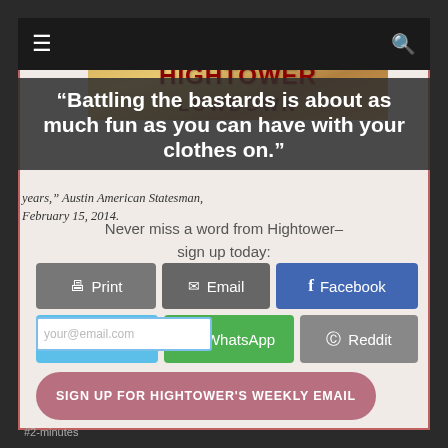[Figure (screenshot): Website screenshot of Hightower Lowdown with navigation bar, banner image, pull quote overlay, and social sharing buttons]
“Battling the bastards is about as much fun as you can have with your clothes on.”
years,” Austin American Statesman, February 15, 2014.
Never miss a word from Hightower–sign up today:
Print
Email
Facebook
your@email.com
Twitter
WhatsApp
Reddit
SIGN UP FOR HIGHTOWER'S WEEKLY EMAIL
#2-minutes